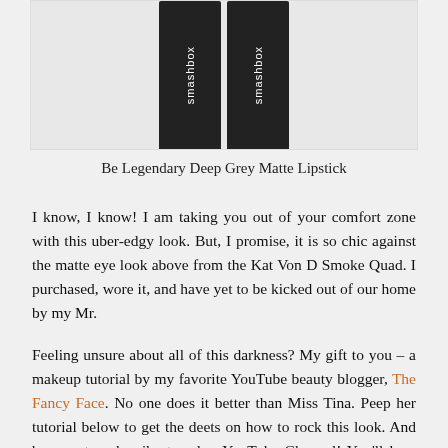[Figure (photo): Two Smashbox lipstick tubes side by side, dark charcoal/grey colored packaging with white Smashbox logo text, shown against a light grey background inside a white card]
Be Legendary Deep Grey Matte Lipstick
I know, I know! I am taking you out of your comfort zone with this uber-edgy look. But, I promise, it is so chic against the matte eye look above from the Kat Von D Smoke Quad. I purchased, wore it, and have yet to be kicked out of our home by my Mr.
Feeling unsure about all of this darkness? My gift to you – a makeup tutorial by my favorite YouTube beauty blogger, The Fancy Face. No one does it better than Miss Tina. Peep her tutorial below to get the deets on how to rock this look. And be sure to subscribe to her YouTube Channel! You'll love her!